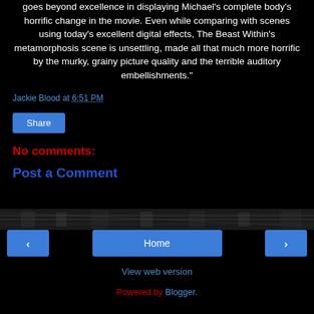goes beyond excellence in displaying Michael's complete body's horrific change in the movie. Even while comparing with scenes using today's excellent digital effects, The Beast Within's metamorphosis scene is unsettling, made all that much more horrific by the murky, grainy picture quality and the terrible auditory embellishments."
Jackie Blood at 6:51 PM
Share
No comments:
Post a Comment
[Figure (other): Dark decorative banner strip with textured dark background]
‹  Home  ›
View web version
Powered by Blogger.